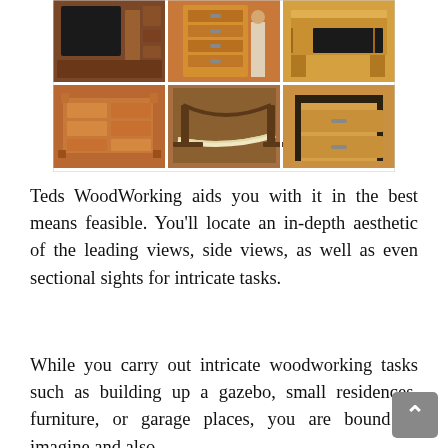[Figure (photo): A 2×3 grid collage of woodworking project photos showing: a TV entertainment center, a tall chest of drawers with a man standing next to it, a wooden console/side table, a low dresser with legs, a wooden hammock stand outdoors, and a two-drawer wooden nightstand/cabinet.]
Teds WoodWorking aids you with it in the best means feasible. You'll locate an in-depth aesthetic of the leading views, side views, as well as even sectional sights for intricate tasks.
While you carry out intricate woodworking tasks such as building up a gazebo, small residences, furniture, or garage places, you are bound to imagine and also